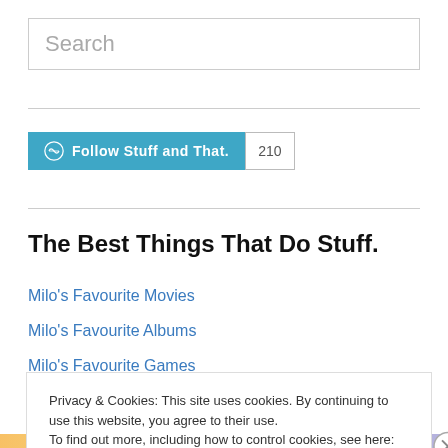Search
[Figure (screenshot): WordPress Follow button for 'Stuff and That.' with follower count 210]
The Best Things That Do Stuff.
Milo's Favourite Movies
Milo's Favourite Albums
Milo's Favourite Games
Reuben's Favourite Movies
Privacy & Cookies: This site uses cookies. By continuing to use this website, you agree to their use.
To find out more, including how to control cookies, see here: Cookie Policy
Close and accept